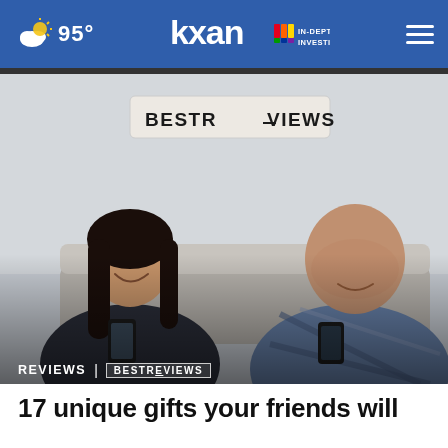95° | KXAN In-Depth Investigative
[Figure (photo): Two people sitting on a couch smiling and looking at their phones, with a BestReviews logo sign on the wall behind them]
REVIEWS | BESTREVIEWS
17 unique gifts your friends will